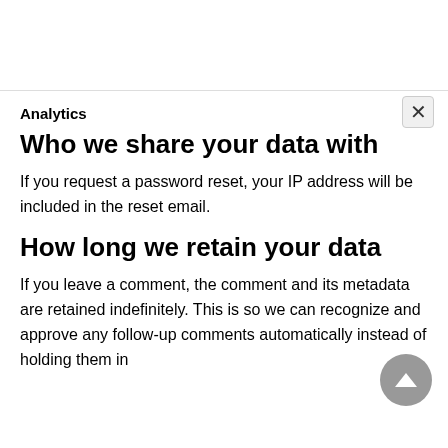Analytics
Who we share your data with
If you request a password reset, your IP address will be included in the reset email.
How long we retain your data
If you leave a comment, the comment and its metadata are retained indefinitely. This is so we can recognize and approve any follow-up comments automatically instead of holding them in